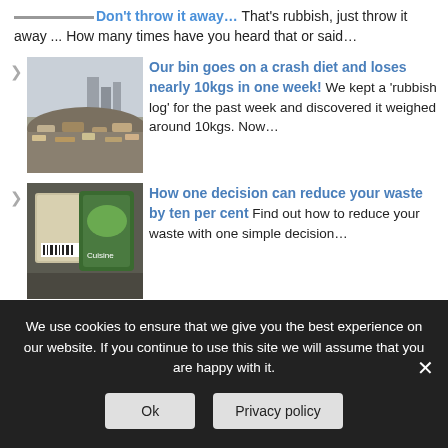Don't throw it away… That's rubbish, just throw it away ... How many times have you heard that or said…
[Figure (photo): Landfill site with piles of waste and machinery in background]
Our bin goes on a crash diet and loses nearly 10kgs in one week! We kept a 'rubbish log' for the past week and discovered it weighed around 10kgs. Now…
[Figure (photo): Food packaging items including pasta and vegetables bag]
How one decision can reduce your waste by ten per cent Find out how to reduce your waste with one simple decision…
We use cookies to ensure that we give you the best experience on our website. If you continue to use this site we will assume that you are happy with it.